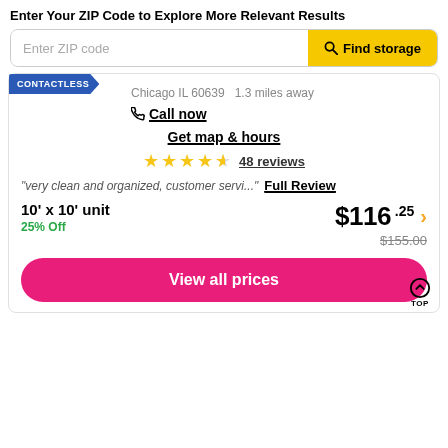Enter Your ZIP Code to Explore More Relevant Results
Enter ZIP code
🔍 Find storage
Chicago IL 60639  1.3 miles away
CONTACTLESS
📞 Call now
Get map & hours
48 reviews
"very clean and organized, customer servi..."
Full Review
10' x 10' unit
25% Off
$116.25
$155.00
View all prices